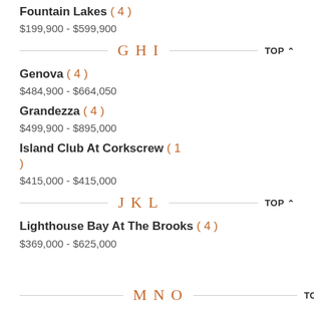Fountain Lakes (4) $199,900 - $599,900
G H I
Genova (4) $484,900 - $664,050
Grandezza (4) $499,900 - $895,000
Island Club At Corkscrew (1) $415,000 - $415,000
J K L
Lighthouse Bay At The Brooks (4) $369,000 - $625,000
M N O